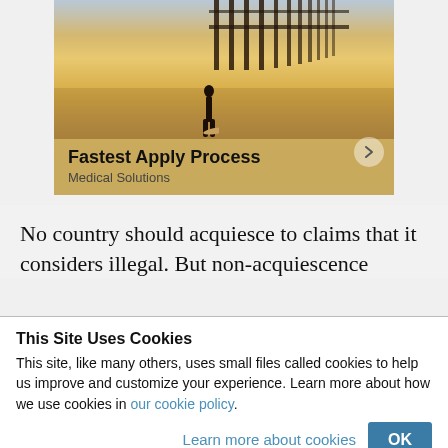[Figure (photo): Advertisement image showing a person standing in shallow ocean water near a pier at sunset/golden hour. Text overlay reads 'Fastest Apply Process' and 'Medical Solutions' with a right-arrow navigation button.]
No country should acquiesce to claims that it considers illegal. But non-acquiescence
This Site Uses Cookies
This site, like many others, uses small files called cookies to help us improve and customize your experience. Learn more about how we use cookies in our cookie policy.
Learn more about cookies   OK